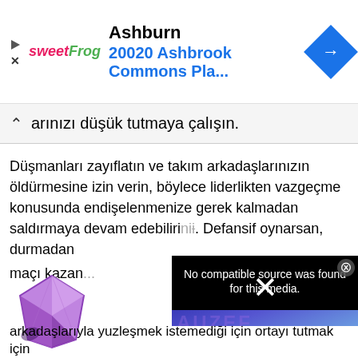[Figure (screenshot): Advertisement banner for sweetFrog at Ashburn, 20020 Ashbrook Commons Pla... with navigation icon]
arınızı düşük tutmaya çalışın.
Düşmanları zayıflatın ve takım arkadaşlarınızın öldürmesine izin verin, böylece liderlikten vazgeçme konusunda endişelenmenize gerek kalmadan saldırmaya devam edebilirsiniz. Defensif oynarsan, durmadan...
maçı kazan...
[Figure (illustration): Purple gem/crystal icon]
[Figure (screenshot): Video overlay showing 'No compatible source was found for this media.' with AUZEF MAKRO İKTİSAT FİNAL DENEME SINAVI 3 text on blue background]
arkadaşlarıyla yuzleşmek istemediği için ortayı tutmak için